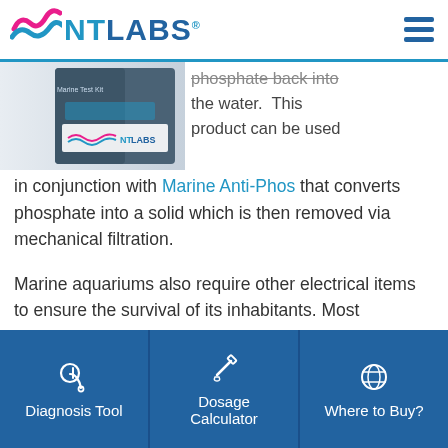NTLABS
[Figure (photo): NT Labs product box (Marine test kit) shown at angle, with NTLABS logo visible on the box]
phosphate back into the water. This product can be used in conjunction with Marine Anti-Phos that converts phosphate into a solid which is then removed via mechanical filtration.
Marine aquariums also require other electrical items to ensure the survival of its inhabitants. Most saltwater tanks will need a heater as the majority of species offered for sale are from tropical climates.
Diagnosis Tool | Dosage Calculator | Where to Buy?